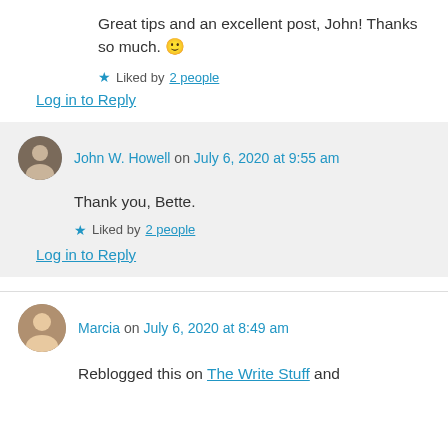Great tips and an excellent post, John! Thanks so much. 🙂
Liked by 2 people
Log in to Reply
John W. Howell on July 6, 2020 at 9:55 am
Thank you, Bette.
Liked by 2 people
Log in to Reply
Marcia on July 6, 2020 at 8:49 am
Reblogged this on The Write Stuff and